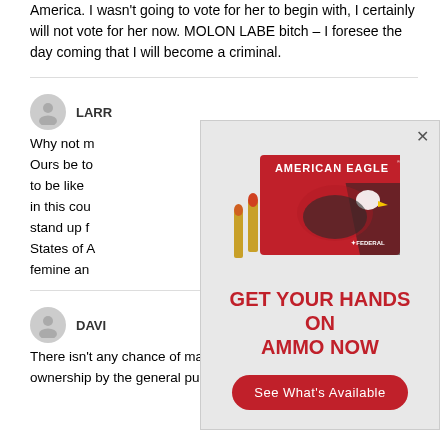America. I wasn't going to vote for her to begin with, I certainly will not vote for her now. MOLON LABE bitch – I foresee the day coming that I will become a criminal.
LARR…
Why not m… Ours be to… to be like… in this cou… stand up f… States of A… femine an…
[Figure (illustration): Popup advertisement for Federal American Eagle ammunition. Shows a red box of American Eagle ammo with two bullets in front, text 'GET YOUR HANDS ON AMMO NOW', and a red 'See What's Available' button.]
DAVI…
There isn't any chance of major action to restrict gun buying or ownership by the general public. Our national government has